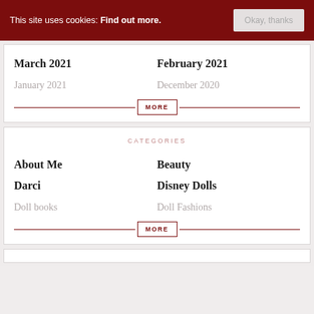This site uses cookies: Find out more.   Okay, thanks
March 2021
February 2021
January 2021
December 2020
CATEGORIES
About Me
Beauty
Darci
Disney Dolls
Doll books
Doll Fashions